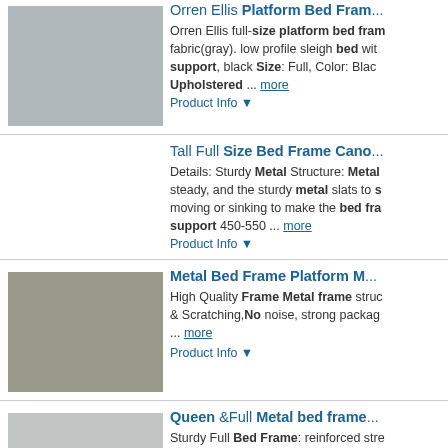[Figure (photo): Orren Ellis platform bed frame product photo - gray upholstered bed]
Orren Ellis Platform Bed Frame...
Orren Ellis full-size platform bed frame fabric(gray). low profile sleigh bed with support, black Size: Full, Color: Black Upholstered ... more
Product Info ▼
Tall Full Size Bed Frame Cano...
Details: Sturdy Metal Structure: Metal steady, and the sturdy metal slats to s moving or sinking to make the bed fra support 450-550 ... more
Product Info ▼
[Figure (photo): Metal Bed Frame Platform product photo - metal frame bed in room]
Metal Bed Frame Platform M...
High Quality Frame Metal frame structure & Scratching, No noise, strong package ... more
Product Info ▼
[Figure (photo): Queen and Full Metal bed frame product photo - white metal bed]
Queen &Full Metal bed frame...
Sturdy Full Bed Frame: reinforced stre heavier than normal bed frame. ... mo
Product Info ▼
[Figure (photo): Alcott Hill Shaker Wood Platform bed product photo]
Alcott Hill® Shaker Wood Platf...
This wood platform bed with headb...